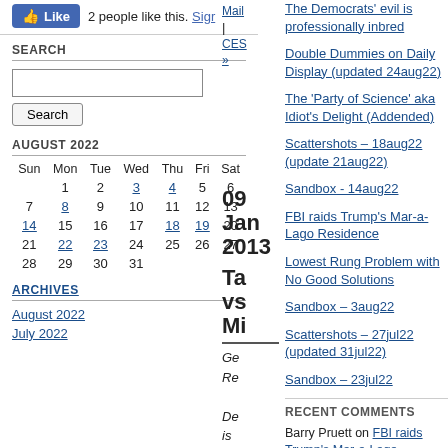[Figure (screenshot): Facebook Like button widget showing thumbs up icon, '2 people like this.' text and 'Sign' link]
SEARCH
[Figure (screenshot): Search input box and Search button]
AUGUST 2022
| Sun | Mon | Tue | Wed | Thu | Fri | Sat |
| --- | --- | --- | --- | --- | --- | --- |
|  | 1 | 2 | 3 | 4 | 5 | 6 |
| 7 | 8 | 9 | 10 | 11 | 12 | 13 |
| 14 | 15 | 16 | 17 | 18 | 19 | 20 |
| 21 | 22 | 23 | 24 | 25 | 26 | 27 |
| 28 | 29 | 30 | 31 |  |  |  |
ARCHIVES
August 2022
July 2022
09 Jan 2013
Ta vs Mi
Ge Re De is an inju imp on bor by fin
The Democrats' evil is professionally inbred
Double Dummies on Daily Display (updated 24aug22)
The 'Party of Science' aka Idiot's Delight (Addended)
Scattershots – 18aug22 (update 21aug22)
Sandbox - 14aug22
FBI raids Trump's Mar-a-Lago Residence
Lowest Rung Problem with No Good Solutions
Sandbox – 3aug22
Scattershots – 27jul22 (updated 31jul22)
Sandbox – 23jul22
RECENT COMMENTS
Barry Pruett on FBI raids Trump's Mar-a-Lago Residence
Paul Emery on FBI raids Trump's Mar-